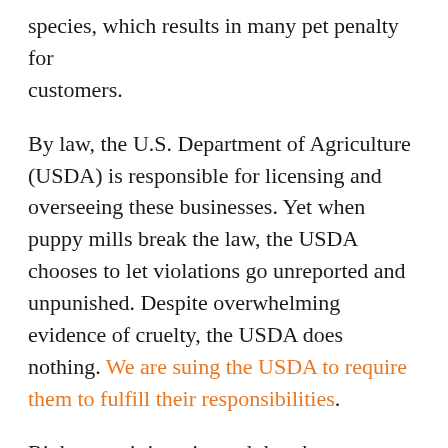species, which results in many pet penalty for the customers.
By law, the U.S. Department of Agriculture (USDA) is responsible for licensing and overseeing these businesses. Yet when puppy mills break the law, the USDA chooses to let violations go unreported and unpunished. Despite overwhelming evidence of cruelty, the USDA does nothing. We are suing the USDA to require them to fulfill their responsibilities.
Right now, it is estimated that there are about 250,000 dogs languishing in puppy mills across the United States. These dogs face being bred over and over again or being sold to unsuspecting pet parents who have no idea the cruelty their dog faced.